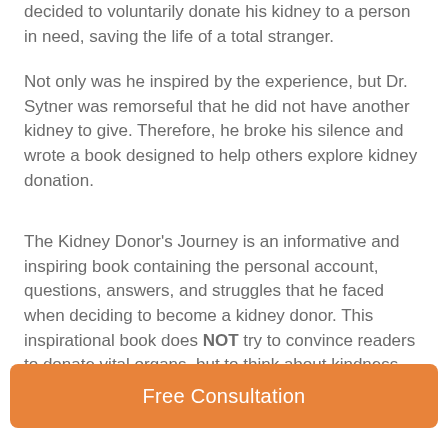decided to voluntarily donate his kidney to a person in need, saving the life of a total stranger.
Not only was he inspired by the experience, but Dr. Sytner was remorseful that he did not have another kidney to give. Therefore, he broke his silence and wrote a book designed to help others explore kidney donation.
The Kidney Donor's Journey is an informative and inspiring book containing the personal account, questions, answers, and struggles that he faced when deciding to become a kidney donor. This inspirational book does NOT try to convince readers to donate vital organs, but to think about kindness and caring for all of humanity and how to improve the world through giving.
Dr. Sytner believes in the capacity for all people to
Free Consultation